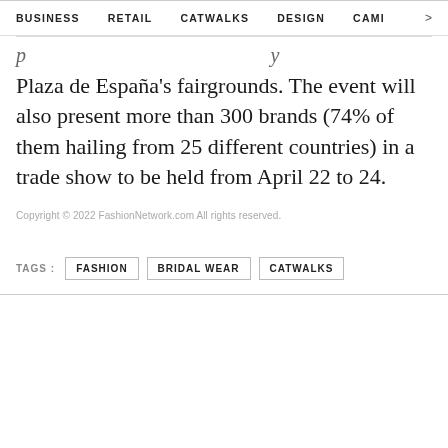BUSINESS   RETAIL   CATWALKS   DESIGN   CAMI >
Plaza de España's fairgrounds. The event will also present more than 300 brands (74% of them hailing from 25 different countries) in a trade show to be held from April 22 to 24.
Copyright © 2022 FashionNetwork.com All rights reserved.
TAGS :  FASHION   BRIDAL WEAR   CATWALKS